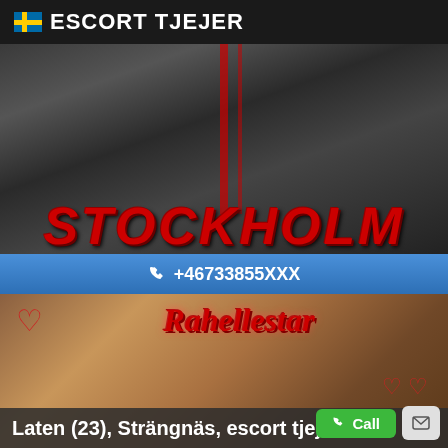ESCORT TJEJER
[Figure (photo): Black and white photo with two women in lingerie, with red text overlay reading STOCKHOLM]
+46733855XXX
[Figure (photo): Photo of a woman with red cursive text Rahellestar and heart decorations]
Laten (23), Strängnäs, escort tjej